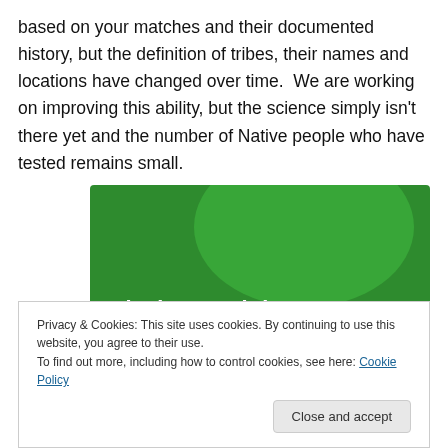based on your matches and their documented history, but the definition of tribes, their names and locations have changed over time.  We are working on improving this ability, but the science simply isn't there yet and the number of Native people who have tested remains small.
[Figure (illustration): Green advertisement banner with bold white text reading 'The best real-time WordPress backup plugin' with decorative green circle shape in background]
Privacy & Cookies: This site uses cookies. By continuing to use this website, you agree to their use.
To find out more, including how to control cookies, see here: Cookie Policy